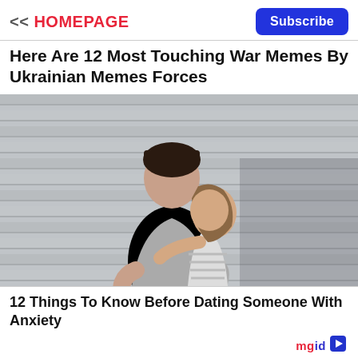<< HOMEPAGE  Subscribe
Here Are 12 Most Touching War Memes By Ukrainian Memes Forces
[Figure (photo): A couple embracing and leaning into each other against a grey corrugated metal wall background, in a romantic pose.]
12 Things To Know Before Dating Someone With Anxiety
mgid